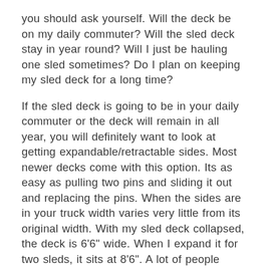you should ask yourself. Will the deck be on my daily commuter? Will the sled deck stay in year round? Will I just be hauling one sled sometimes? Do I plan on keeping my sled deck for a long time?
If the sled deck is going to be in your daily commuter or the deck will remain in all year, you will definitely want to look at getting expandable/retractable sides. Most newer decks come with this option. Its as easy as pulling two pins and sliding it out and replacing the pins. When the sides are in your truck width varies very little from its original width. With my sled deck collapsed, the deck is 6'6" wide. When I expand it for two sleds, it sits at 8'6". A lot of people leave their decks expanded all winter, but when riding season comes to an end, they collapse it in and don't even notice it all summer. If you do get a collapsible deck and will be hauling one sled on